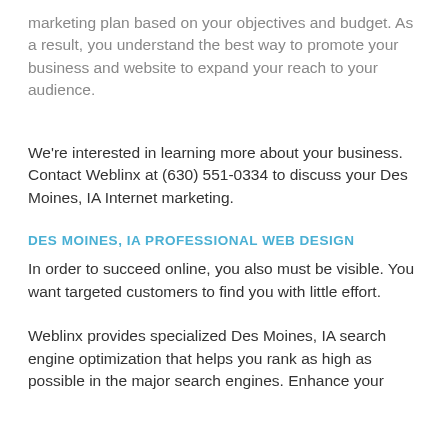marketing plan based on your objectives and budget. As a result, you understand the best way to promote your business and website to expand your reach to your audience.
We're interested in learning more about your business. Contact Weblinx at (630) 551-0334 to discuss your Des Moines, IA Internet marketing.
DES MOINES, IA PROFESSIONAL WEB DESIGN
In order to succeed online, you also must be visible. You want targeted customers to find you with little effort.
Weblinx provides specialized Des Moines, IA search engine optimization that helps you rank as high as possible in the major search engines. Enhance your